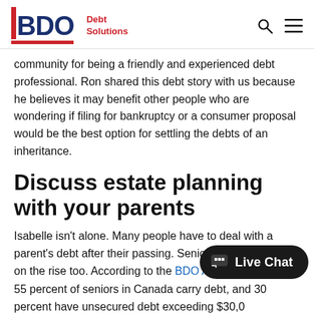BDO Debt Solutions
community for being a friendly and experienced debt professional. Ron shared this debt story with us because he believes it may benefit other people who are wondering if filing for bankruptcy or a consumer proposal would be the best option for settling the debts of an inheritance.
Discuss estate planning with your parents
Isabelle isn't alone. Many people have to deal with a parent's debt after their passing. Senior indebtedness is on the rise too. According to the BDO Affordability Index, 55 percent of seniors in Canada carry debt, and 30 percent have unsecured debt exceeding $30,0...
“It's important to note that you don't necessarily inherit debt. You have to choose to inherit debt. As heirs, certain...